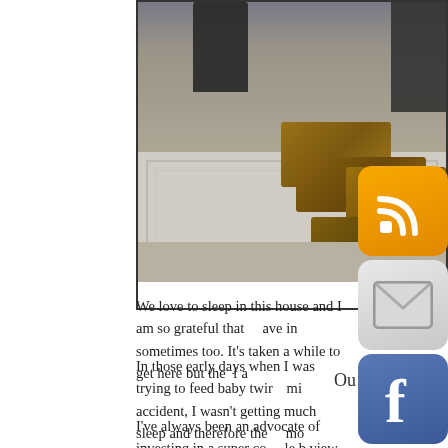[Figure (photo): Interior room photo showing wicker baskets stacked against a wainscoted wall, with dark clothing hanging above. RSS, email, Facebook, Twitter, YouTube, and Instagram social media icons overlaid on the right side.]
We love to sleep in this house and I am so grateful that [we] ave in sometimes too. It's taken a while to get here but the [kids/dogs] a [m]
In those early days when I was trying to feed baby twir [ns] mi accident, I wasn't getting much sleep and therefore the [house was a] mo
I've always been an advocate of investing in a super co[mfortable] b view buying a bed as an investment that is going to last [years a] nd